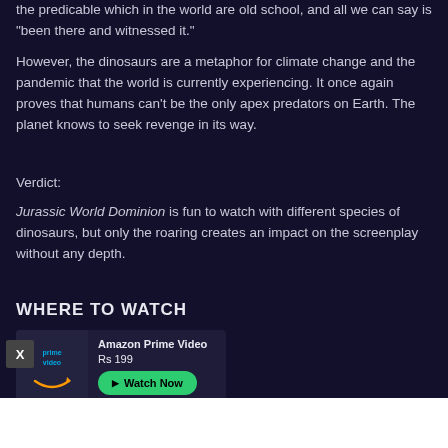the predicable which in the world are old school, and all we can say is "been there and witnessed it."
However, the dinosaurs are a metaphor for climate change and the pandemic that the world is currently experiencing. It once again proves that humans can't be the only apex predators on Earth. The planet knows to seek revenge in its way.
Verdict:
Jurassic World Dominion is fun to watch with different species of dinosaurs, but only the roaring creates an impact on the screenplay without any depth.
WHERE TO WATCH
[Figure (other): Amazon Prime Video streaming option with logo, price Rs 199, and Watch Now button]